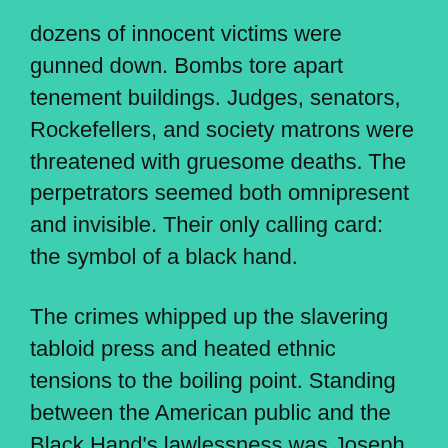dozens of innocent victims were gunned down. Bombs tore apart tenement buildings. Judges, senators, Rockefellers, and society matrons were threatened with gruesome deaths. The perpetrators seemed both omnipresent and invisible. Their only calling card: the symbol of a black hand.

The crimes whipped up the slavering tabloid press and heated ethnic tensions to the boiling point. Standing between the American public and the Black Hand's lawlessness was Joseph Petrosino. Dubbed the “Italian Sherlock Holmes,” he was a famously dogged and ingenious detective, and a master of disguise.

As the crimes grew ever more bizarre and the Black Hand's tightened foothold on New York began...